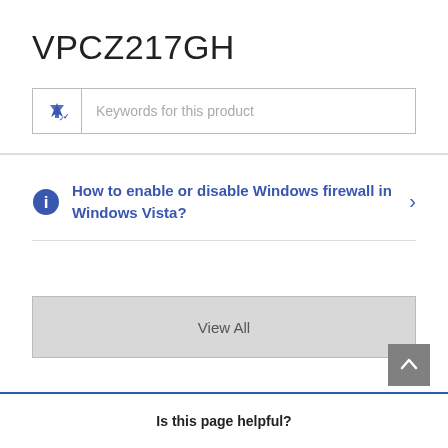VPCZ217GH
Keywords for this product
How to enable or disable Windows firewall in Windows Vista?
View All
Is this page helpful?